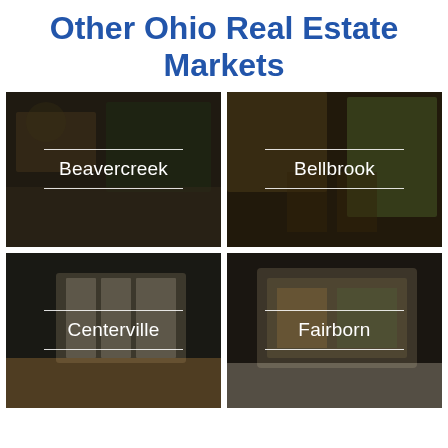Other Ohio Real Estate Markets
[Figure (photo): Dark-tinted interior photo of a living/dining room area with label 'Beavercreek']
[Figure (photo): Dark-tinted interior photo of a kitchen with bar stools and large windows with label 'Bellbrook']
[Figure (photo): Dark-tinted interior photo of a room with shuttered windows with label 'Centerville']
[Figure (photo): Dark-tinted interior photo of a room with a large window/artwork with label 'Fairborn']